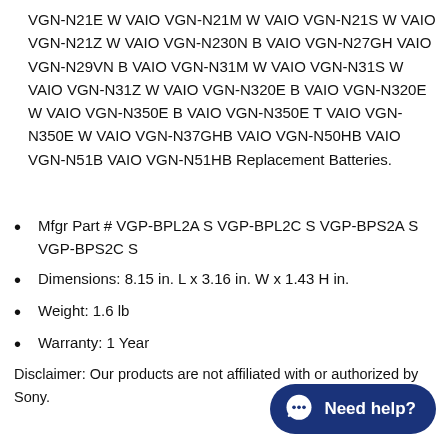VGN-N21E W VAIO VGN-N21M W VAIO VGN-N21S W VAIO VGN-N21Z W VAIO VGN-N230N B VAIO VGN-N27GH VAIO VGN-N29VN B VAIO VGN-N31M W VAIO VGN-N31S W VAIO VGN-N31Z W VAIO VGN-N320E B VAIO VGN-N320E W VAIO VGN-N350E B VAIO VGN-N350E T VAIO VGN-N350E W VAIO VGN-N37GHB VAIO VGN-N50HB VAIO VGN-N51B VAIO VGN-N51HB Replacement Batteries.
Mfgr Part # VGP-BPL2A S VGP-BPL2C S VGP-BPS2A S VGP-BPS2C S
Dimensions: 8.15 in. L x 3.16 in. W x 1.43 H in.
Weight: 1.6 lb
Warranty: 1 Year
Disclaimer: Our products are not affiliated with or authorized by Sony.
[Figure (other): Blue chat button with speech bubble icon and text 'Need help?']